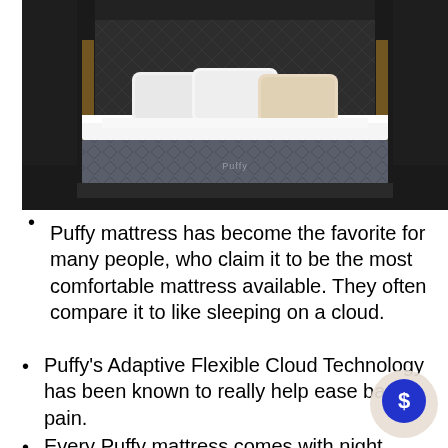[Figure (photo): A Puffy mattress on a bed frame with white pillows against a dark quilted headboard wall. The mattress has a grey diamond-quilted side panel with the Puffy logo visible.]
Puffy mattress has become the favorite for many people, who claim it to be the most comfortable mattress available. They often compare it to like sleeping on a cloud.
Puffy's Adaptive Flexible Cloud Technology has been known to really help ease back pain.
Every Puffy mattress comes with night sleep trial, as well as a lifetime